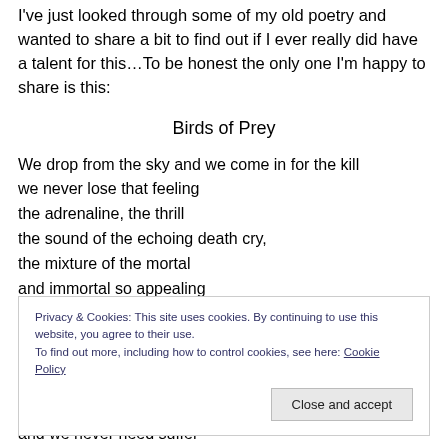I've just looked through some of my old poetry and wanted to share a bit to find out if I ever really did have a talent for this…To be honest the only one I'm happy to share is this:
Birds of Prey
We drop from the sky and we come in for the kill
we never lose that feeling
the adrenaline, the thrill
the sound of the echoing death cry,
the mixture of the mortal
and immortal so appealing
Privacy & Cookies: This site uses cookies. By continuing to use this website, you agree to their use.
To find out more, including how to control cookies, see here: Cookie Policy
and we never need suffer